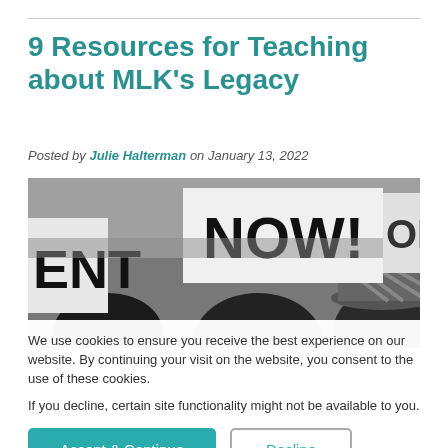9 Resources for Teaching about MLK's Legacy
Posted by Julie Halterman on January 13, 2022
[Figure (photo): Black and white photograph of civil rights protesters holding signs including one that reads NOW!]
We use cookies to ensure you receive the best experience on our website. By continuing your visit on the website, you consent to the use of these cookies.
If you decline, certain site functionality might not be available to you.
Accept & Continue
Decline